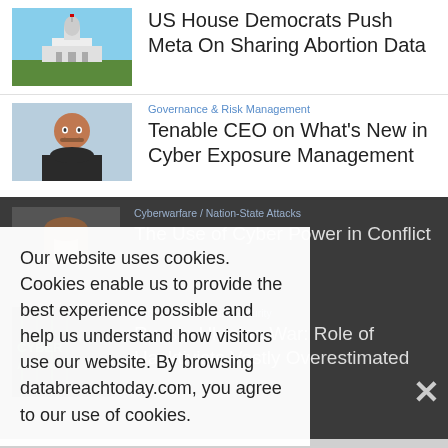[Figure (photo): Capitol building exterior photo]
US House Democrats Push Meta On Sharing Abortion Data
[Figure (photo): Headshot of a smiling man with dark hair and beard wearing a dark jacket]
Governance & Risk Management
Tenable CEO on What's New in Cyber Exposure Management
[Figure (photo): Dark background article thumbnail showing woman's face]
Cyberwarfare / Nation-State Attacks
The Use of Cyber Power in Conflict
[Figure (photo): Dark image with 'CYBER ATTACK' text overlay]
Critical Infrastructure Security
Russia-Ukraine War: Role of Hacktivists Vastly Overestimated
Our website uses cookies. Cookies enable us to provide the best experience possible and help us understand how visitors use our website. By browsing databreachtoday.com, you agree to our use of cookies.